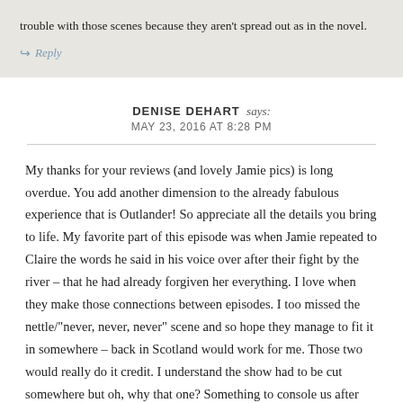trouble with those scenes because they aren't spread out as in the novel.
Reply
DENISE DEHART says:
MAY 23, 2016 AT 8:28 PM
My thanks for your reviews (and lovely Jamie pics) is long overdue. You add another dimension to the already fabulous experience that is Outlander! So appreciate all the details you bring to life. My favorite part of this episode was when Jamie repeated to Claire the words he said in his voice over after their fight by the river – that he had already forgiven her everything. I love when they make those connections between episodes. I too missed the nettle/"never, never, never" scene and so hope they manage to fit it in somewhere – back in Scotland would work for me. Those two would really do it credit. I understand the show had to be cut somewhere but oh, why that one? Something to console us after